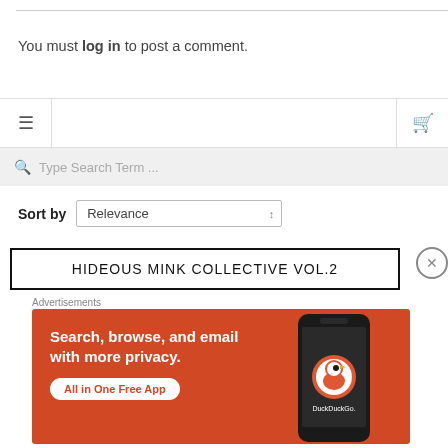You must log in to post a comment.
[Figure (screenshot): Navigation bar with hamburger menu icon on left and shopping cart icon on right]
[Figure (screenshot): Search bar with magnifying glass icon and placeholder text 'Type Search Term ...']
Sort by Relevance
HIDEOUS MINK COLLECTIVE VOL.2
Advertisements
[Figure (infographic): DuckDuckGo advertisement banner: 'Search, browse, and email with more privacy. All in One Free App' with DuckDuckGo logo on a phone on the right side. Orange background.]